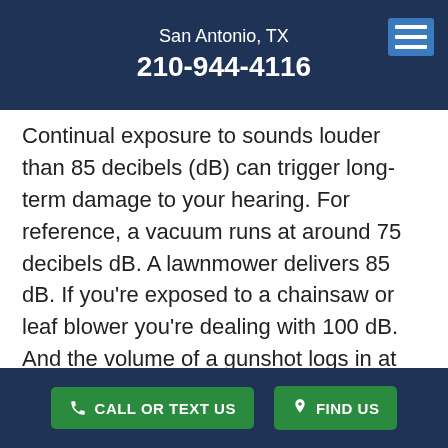San Antonio, TX
210-944-4116
Continual exposure to sounds louder than 85 decibels (dB) can trigger long-term damage to your hearing. For reference, a vacuum runs at around 75 decibels dB. A lawnmower delivers 85 dB. If you're exposed to a chainsaw or leaf blower you're dealing with 100 dB. And the volume of a gunshot logs in at 140 dB.
Are you at risk when in your work environment? Are you being exposed to the most common workplace injury? Over time, your hearing can be
CALL OR TEXT US   FIND US